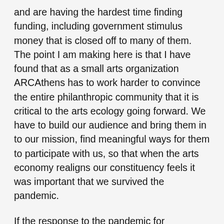and are having the hardest time finding funding, including government stimulus money that is closed off to many of them. The point I am making here is that I have found that as a small arts organization ARCAthens has to work harder to convince the entire philanthropic community that it is critical to the arts ecology going forward. We have to build our audience and bring them in to our mission, find meaningful ways for them to participate with us, so that when the arts economy realigns our constituency feels it was important that we survived the pandemic.
If the response to the pandemic for ARCAthens is one of Love, and our motivation is to keep on working and to be part of larger positive changes that improve the current equation, then we will stay on mission and act from a values-based proposition. It is unbelievably important that the voices of artists and small arts organizations be heard and counted in the conversation about recovery and the arts.